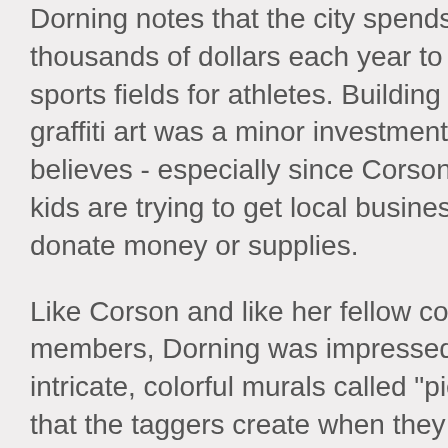Dorning notes that the city spends thousands of dollars each year to maintain sports fields for athletes. Building a wall for graffiti art was a minor investment, she believes - especially since Corson and the kids are trying to get local businesses to donate money or supplies.
Like Corson and like her fellow council members, Dorning was impressed by the intricate, colorful murals called "piecework" that the taggers create when they are not spray-painting their names all over the city.
The wall will be built on a vacant city-owned lot at 83rd Street and 161st
[Figure (photo): Wooden plank wall texture on the right side of the page, showing horizontal grey-brown wooden boards with visible grain and horizontal lines between planks.]